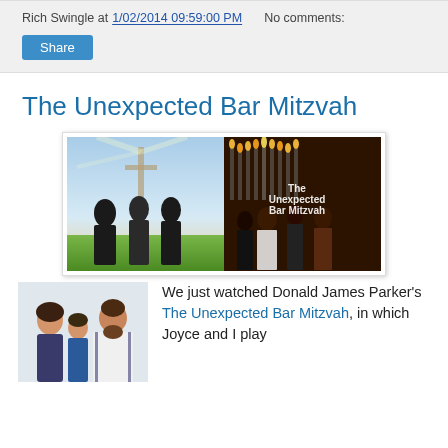Rich Swingle at 1/02/2014 09:59:00 PM   No comments:
Share
The Unexpected Bar Mitzvah
[Figure (photo): Movie poster / promotional image for 'The Unexpected Bar Mitzvah' showing two family scenes side by side — left: a family of three standing in front of a cross in a field; right: a family at a menorah ceremony. Text overlay reads 'The Unexpected Bar Mitzvah'.]
[Figure (photo): Photo of a woman, a young boy, and a bearded man wearing a tallit (prayer shawl), posing together indoors.]
We just watched Donald James Parker's The Unexpected Bar Mitzvah, in which Joyce and I play